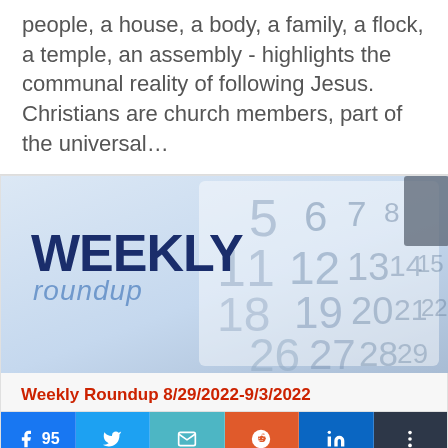people, a house, a body, a family, a flock, a temple, an assembly - highlights the communal reality of following Jesus. Christians are church members, part of the universal…
[Figure (illustration): Weekly Roundup banner image showing a calendar in the background with bold dark blue text 'WEEKLY' and lighter blue italic text 'roundup']
Weekly Roundup 8/29/2022-9/3/2022